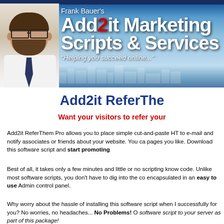[Figure (illustration): Frank Bauer's Add2it Marketing Scripts & Services banner with photo of man in glasses and tagline 'Helping you succeed online...']
Add2it ReferThe
Want your visitors to refer your
Add2it ReferThem Pro allows you to place simple cut-and-paste HT to e-mail and notify associates or friends about your website. You ca pages you like. Download this software script and start promoting
Best of all, it takes only a few minutes and little or no scripting know code. Unlike most software scripts, you don't have to dig into the co encapsulated in an easy to use Admin control panel.
Why worry about the hassle of installing this software script when I successfully for you? No worries, no headaches... No Problems! O software script to your server as part of this package!